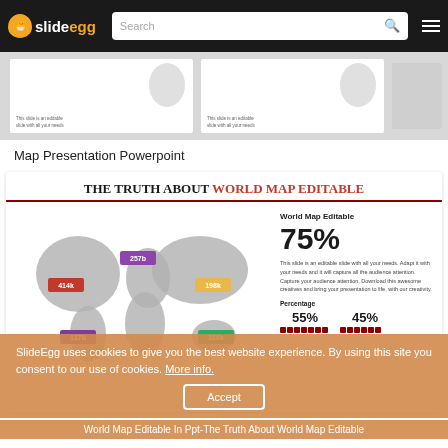slideegg — Search bar and navigation
[Figure (screenshot): Slide preview thumbnails showing map presentation slides]
Map Presentation Powerpoint
[Figure (infographic): The Truth About World Map Editable — infographic with world map, 75% stat, 55% and 45% percentage columns]
SlideEgg uses cookies to give you the best website experience. By using this site you consent to our use of cookies. More info.
World Map Editable In Ppt-The Truth About World Map Editable